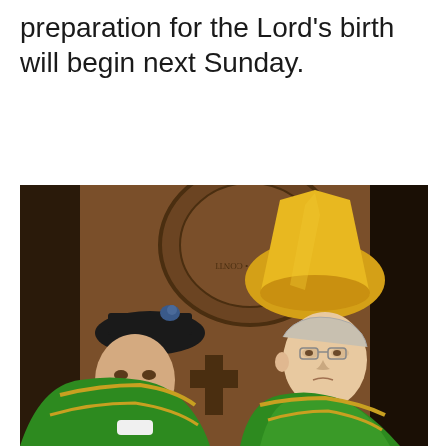preparation for the Lord's birth will begin next Sunday.
[Figure (photo): Two Catholic clergy members in green liturgical vestments standing before an ornate wooden door with carved inscription. The figure on the right wears a tall yellow bishop's mitre and glasses. The figure on the left wears a black biretta with blue tuft and is bowing slightly.]